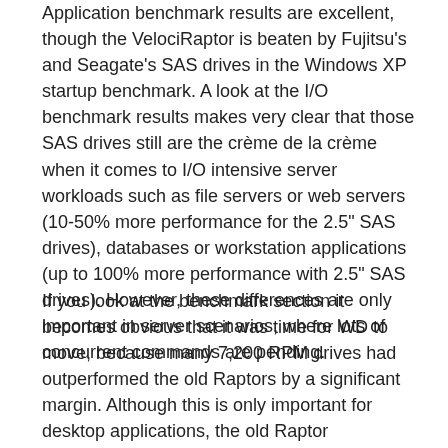Application benchmark results are excellent, though the VelociRaptor is beaten by Fujitsu's and Seagate's SAS drives in the Windows XP startup benchmark. A look at the I/O benchmark results makes very clear that those SAS drives still are the crème de la crème when it comes to I/O intensive server workloads such as file servers or web servers (10-50% more performance for the 2.5" SAS drives), databases or workstation applications (up to 100% more performance with 2.5" SAS drives). However, these differences are only important in server scenarios, where lots of concurrent commands are pending.
If you look at the benchmark section it becomes obvious that it was time for WD to move, because many 7,200 RPM drives had outperformed the old Raptors by a significant margin. Although this is only important for desktop applications, the old Raptor